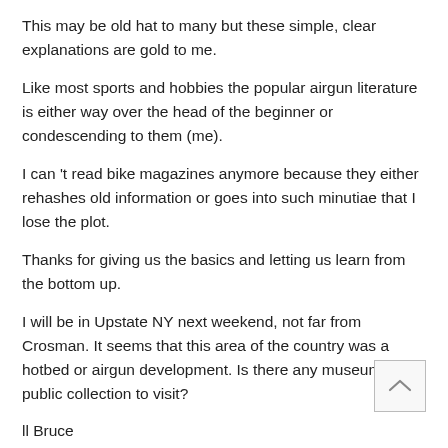This may be old hat to many but these simple, clear explanations are gold to me.
Like most sports and hobbies the popular airgun literature is either way over the head of the beginner or condescending to them (me).
I can 't read bike magazines anymore because they either rehashes old information or goes into such minutiae that I lose the plot.
Thanks for giving us the basics and letting us learn from the bottom up.
I will be in Upstate NY next weekend, not far from Crosman. It seems that this area of the country was a hotbed or airgun development. Is there any museum, or public collection to visit?
ll Bruce
Log in to Reply